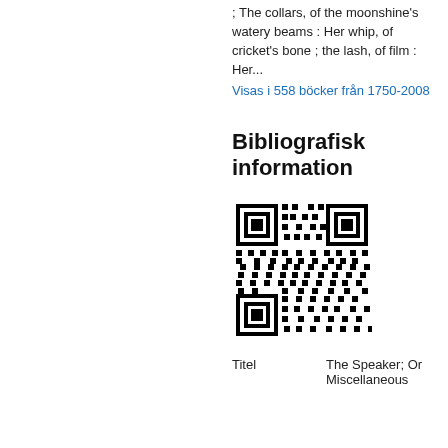; The collars, of the moonshine's watery beams : Her whip, of cricket's bone ; the lash, of film : Her...
Visas i 558 böcker från 1750-2008
Bibliografisk information
[Figure (other): QR code for bibliographic information]
| Titel | The Speaker; Or Miscellaneous |